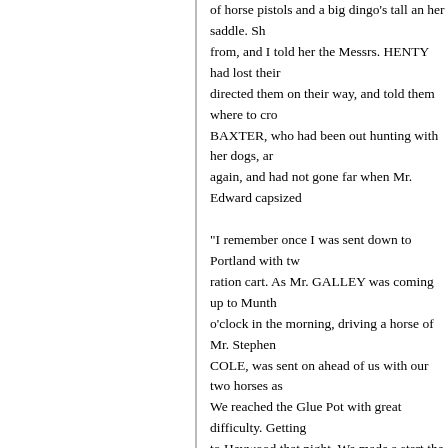of horse pistols and a big dingo's tall an her saddle. Sh from, and I told her the Messrs. HENTY had lost their directed them on their way, and told them where to cro BAXTER, who had been out hunting with her dogs, ar again, and had not gone far when Mr. Edward capsized thrown out. Getting righted once more, we made anoth the crossing was so bad that we had to get the tomahav temporary crossing. We continued our way till we cam Hickey's. As it was dark we stayed there for the night. Fairy. That is a short account of our first trip to the Por
"I remember once I was sent down to Portland with tw ration cart. As Mr. GALLEY was coming up to Munth o'clock in the morning, driving a horse of Mr. Stephen COLE, was sent on ahead of us with our two horses as We reached the Glue Pot with great difficulty. Getting to Heywood that night. We made a start the next morn gone far when we got bogged, and had to take the out- and going on to Major's Heath, on the old road we cap while the shaft horse was lying with his head in a grea the hole to keep his head up, as he was almost smothe could not get up. Then we put the other horse on to the when we got the horse up; having then to wash harnes hours. Making another start we drove about four miles threw us both out, breaking the side and shaft, so we w